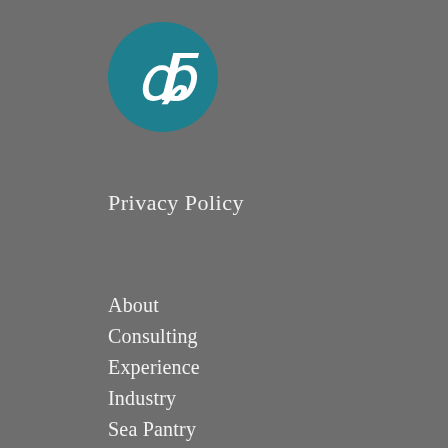[Figure (logo): Circular teal logo with a stylized white letter/symbol resembling a cursive 'db' or similar monogram]
Privacy Policy
About
Consulting
Experience
Industry
Sea Pantry
Blog
Contact